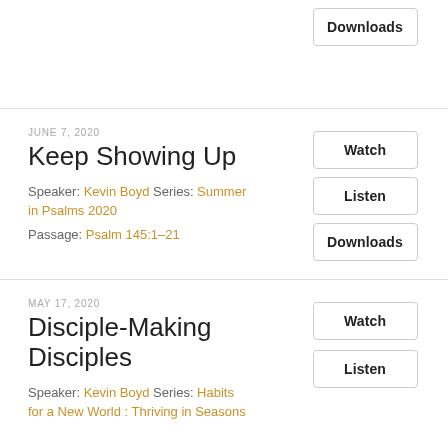Downloads
JUNE 7, 2020
Keep Showing Up
Speaker: Kevin Boyd Series: Summer in Psalms 2020
Passage: Psalm 145:1–21
Watch
Listen
Downloads
MAY 17, 2020
Disciple-Making Disciples
Speaker: Kevin Boyd Series: Habits for a New World : Thriving in Seasons
Watch
Listen